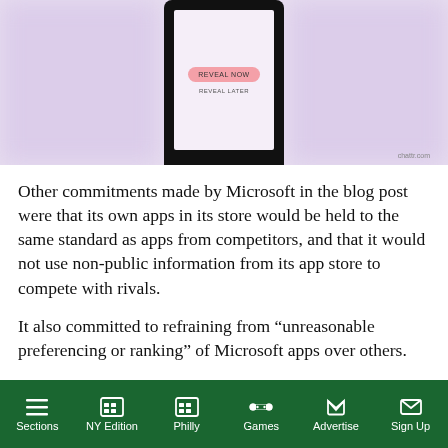[Figure (screenshot): Phone screen screenshot showing a mobile app with 'REVEAL NOW' button in pink and 'REVEAL LATER' text below, on a purple-tinted background. Watermark reads 'chattr.com'.]
Other commitments made by Microsoft in the blog post were that its own apps in its store would be held to the same standard as apps from competitors, and that it would not use non-public information from its app store to compete with rivals.
It also committed to refraining from “unreasonable preferencing or ranking” of Microsoft apps over others.
Congress is now considering bills that would ban Big Tech platforms like Amazon.com Inc and others from giving preference to their own products. Another
Sections   NY Edition   Philly   Games   Advertise   Sign Up